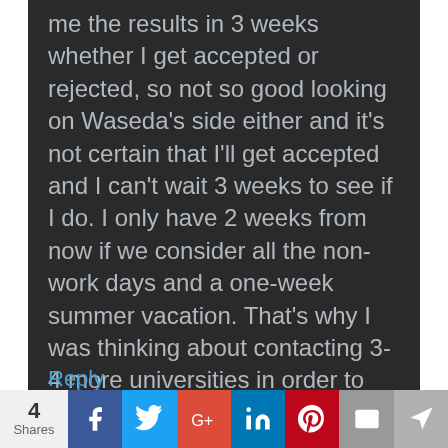me the results in 3 weeks whether I get accepted or rejected, so not so good looking on Waseda's side either and it's not certain that I'll get accepted and I can't wait 3 weeks to see if I do. I only have 2 weeks from now if we consider all the non-work days and a one-week summer vacation. That's why I was thinking about contacting 3-4 more universities in order to raise my chances and hopefully get 1 or more LoA. What do you think I should do?
Reply
4 Shares | Facebook | Twitter | Google+ | LinkedIn | Pinterest | Email | Bookmark